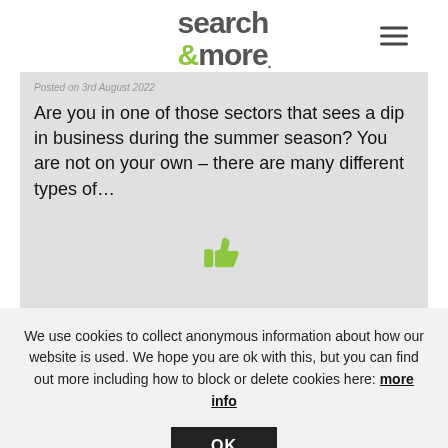search & more [logo] [hamburger menu]
Posted on 3rd August 2022
Are you in one of those sectors that sees a dip in business during the summer season? You are not on your own – there are many different types of…
[Figure (illustration): Green thumbs up icon]
We use cookies to collect anonymous information about how our website is used. We hope you are ok with this, but you can find out more including how to block or delete cookies here: more info
OK